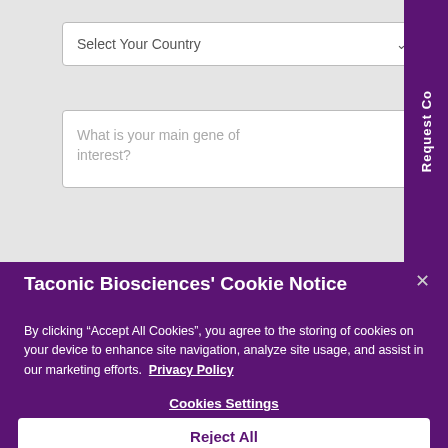[Figure (screenshot): Dropdown form field labeled 'Select Your Country' with chevron/arrow indicator]
[Figure (screenshot): Text input field with placeholder 'What is your main gene of interest?']
Request Co
Taconic Biosciences' Cookie Notice
By clicking “Accept All Cookies”, you agree to the storing of cookies on your device to enhance site navigation, analyze site usage, and assist in our marketing efforts.  Privacy Policy
Cookies Settings
Reject All
Accept All Cookies